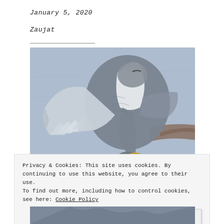January 5, 2020
Zaujat
[Figure (photo): Close-up photograph of a tricolored heron or similar large wading bird with wings spread, bending its neck down, showing detailed grey and white feathers with a blurred blue-grey water background and some driftwood visible.]
Privacy & Cookies: This site uses cookies. By continuing to use this website, you agree to their use.
To find out more, including how to control cookies, see here: Cookie Policy
Close and accept
[Figure (photo): Partial view of the bottom of the bird/nature photograph, showing the lower portion cut off.]